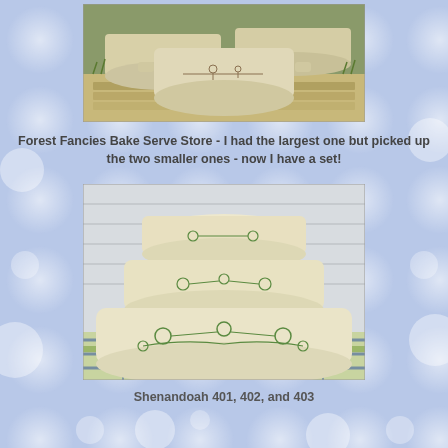[Figure (photo): Three Pyrex Forest Fancies Bake Serve Store casserole dishes sitting on stone/wood surface outdoors, cream/tan colored with brown botanical/mushroom designs]
Forest Fancies Bake Serve Store - I had the largest one but picked up the two smaller ones - now I have a set!
[Figure (photo): Three Pyrex Shenandoah mixing bowls (401, 402, and 403) stacked/nested, cream colored with green floral/clover designs, sitting on a plaid tablecloth in front of white siding]
Shenandoah 401, 402, and 403